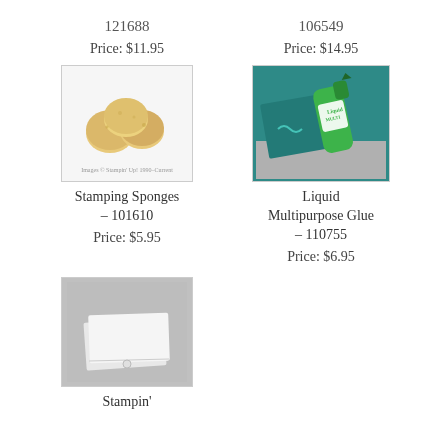121688
106549
Price: $11.95
Price: $14.95
[Figure (photo): Three round yellow stamping sponges on white background with small copyright text]
[Figure (photo): Green Liquid Multipurpose Glue tube on teal cutting mat with silver background]
Stamping Sponges – 101610
Liquid Multipurpose Glue – 110755
Price: $5.95
Price: $6.95
[Figure (photo): White papers stacked slightly offset on gray background with small circle element]
Stampin'